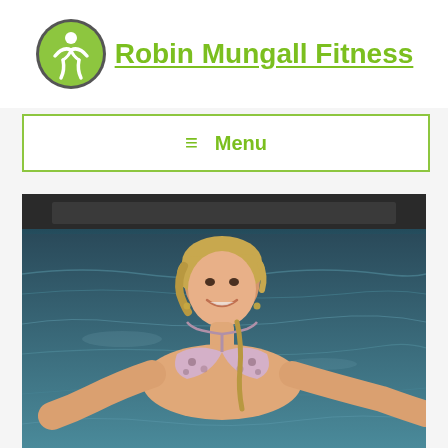[Figure (logo): Robin Mungall Fitness logo: green circle with white person figure, next to green bold underlined text 'Robin Mungall Fitness']
≡  Menu
[Figure (photo): A smiling blonde woman in a floral bikini top standing in or near water, with dark water and what appears to be a boat or dock in the background]